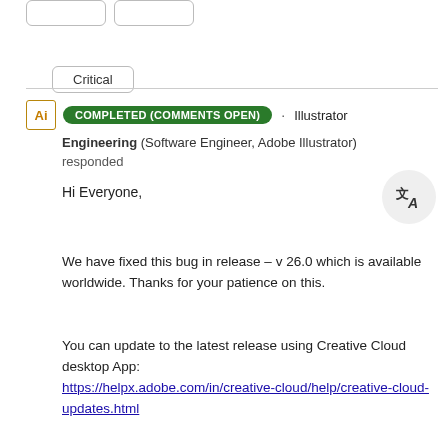[Figure (screenshot): Two placeholder button outlines at top]
Critical
COMPLETED (COMMENTS OPEN) · Illustrator Engineering (Software Engineer, Adobe Illustrator) responded
Hi Everyone,
We have fixed this bug in release – v 26.0 which is available worldwide. Thanks for your patience on this.
You can update to the latest release using Creative Cloud desktop App: https://helpx.adobe.com/in/creative-cloud/help/creative-cloud-updates.html